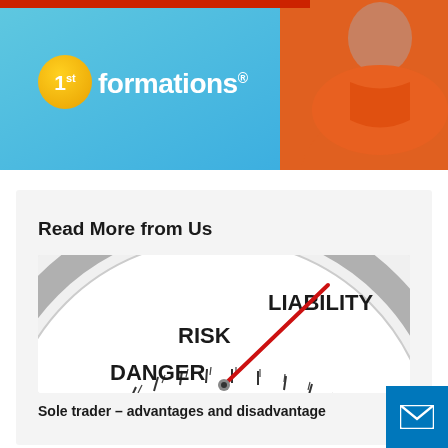[Figure (logo): 1st formations logo on a blue and orange banner background with a person in an orange sweater. The logo shows a yellow circle with '1st' and the text 'formations®' in white.]
Read More from Us
[Figure (photo): A gauge/meter dial showing the labels DANGER, RISK, and LIABILITY, with a red needle pointing toward LIABILITY.]
Sole trader – advantages and disadvantage